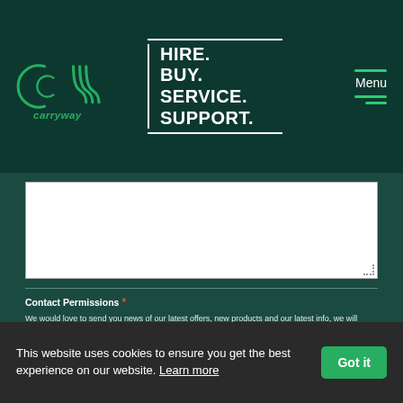[Figure (logo): Carryway logo with circular 'cw' mark and tagline HIRE. BUY. SERVICE. SUPPORT.]
Contact Permissions * We would love to send you news of our latest offers, new products and our latest info, we will always treat your personal details with the utmost care and will never sell to other companies for marketing purposes. See our privacy policy for more details. Please let us know if you would like us to contact you.
Yes please, I would like to hear about offers and relevant news
No thanks, I do not want to know about offers or relevant news
This website uses cookies to ensure you get the best experience on our website. Learn more